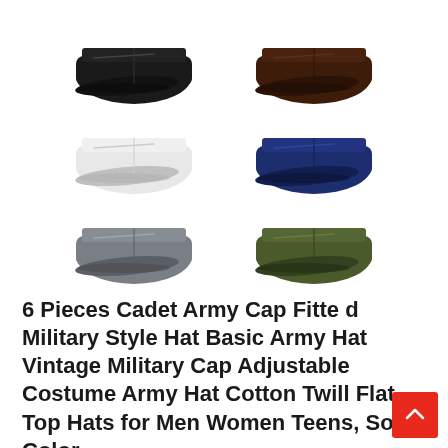[Figure (photo): Six military-style cadet army caps arranged in a 2x3 grid: top row has black and dark brown caps, middle row has white and navy blue caps, bottom row has grey and olive/army green caps.]
6 Pieces Cadet Army Cap Fitte d Military Style Hat Basic Army Hat Vintage Military Cap Adjustable Costume Army Hat Cotton Twill Flat Top Hats for Men Women Teens, Solid Color